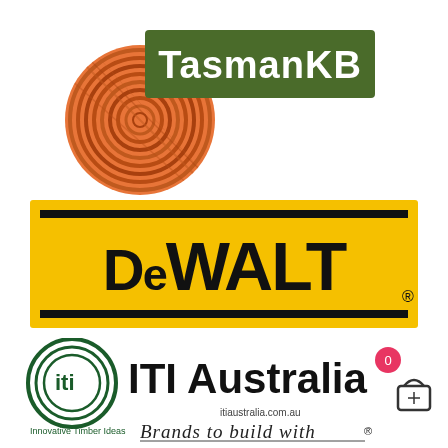[Figure (logo): TasmanKB logo: circular wood grain design in orange and brown tones on the left, with 'TasmanKB' text on a dark green background rectangle on the right, white lettering.]
[Figure (logo): DeWALT logo: black bold text 'DeWALT' with registered trademark symbol on a yellow/gold rectangular background with black border bars top and bottom.]
[Figure (logo): ITI Australia logo: circular green concentric rings icon on the left with 'iti' inside, large bold black text 'ITI Australia' on the right with a pink/red notification badge showing '0', text below reads 'Innovative Timber Ideas' and 'itiaustralia.com.au', and a shopping basket icon in bottom right. Below the logo is italic/script text 'Brands to build with' with a registered trademark symbol.]